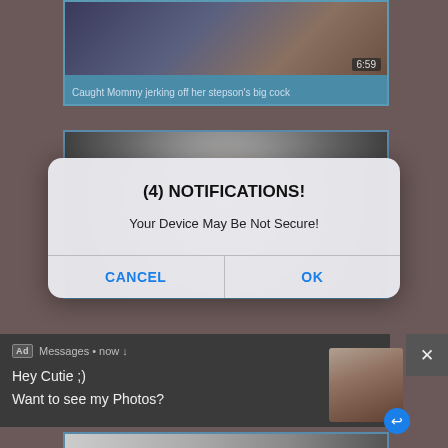[Figure (screenshot): Video thumbnail with duration 6:59]
Caught Mommy jerking off her stepson's big cock
[Figure (screenshot): Second video thumbnail partially visible behind dialog]
(4) NOTIFICATIONS!
Your Device May Be Not Secure!
CANCEL
OK
Ad  Messages • now
Hey Cutie ;)
Want to see my Photos?
[Figure (photo): Ad thumbnail image of a person]
[Figure (screenshot): Bottom video thumbnail partially visible]